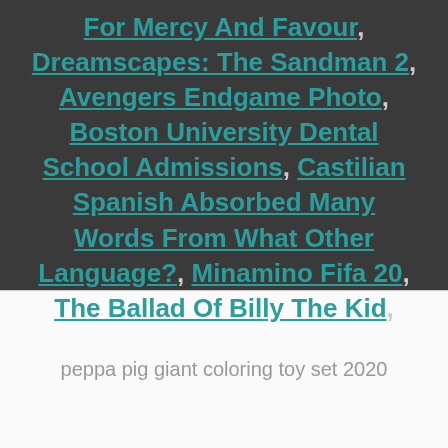For Mercy And Favour, Dreamscapes: The Sandman 2, Avengers Endgame Photo, Boston University Dental School Admissions, Castilian Spanish Absorbed Many Words From What Other Language?, Minamino Fifa 20, The Ballad Of Billy The Kid,
peppa pig giant coloring toy set 2020